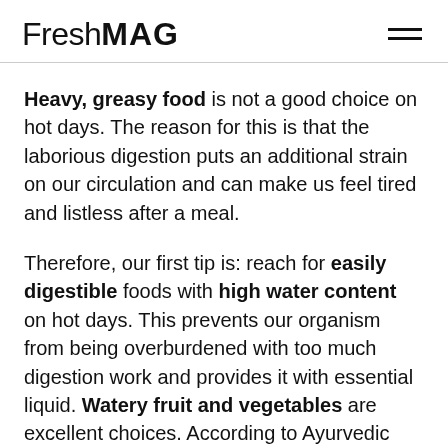FreshMAG
Heavy, greasy food is not a good choice on hot days. The reason for this is that the laborious digestion puts an additional strain on our circulation and can make us feel tired and listless after a meal.
Therefore, our first tip is: reach for easily digestible foods with high water content on hot days. This prevents our organism from being overburdened with too much digestion work and provides it with essential liquid. Watery fruit and vegetables are excellent choices. According to Ayurvedic theory, these